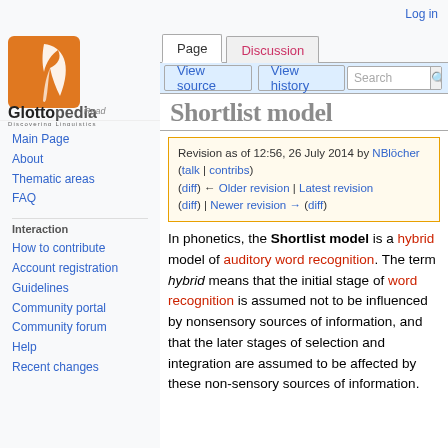Log in
[Figure (logo): Glottopedia logo: orange square with white feather, text 'Glottopedia' and tagline 'Discovering Linguistics']
Main Page
About
Thematic areas
FAQ
Interaction
How to contribute
Account registration
Guidelines
Community portal
Community forum
Help
Recent changes
Shortlist model
Revision as of 12:56, 26 July 2014 by NBlöcher (talk | contribs)
(diff) ← Older revision | Latest revision
(diff) | Newer revision → (diff)
In phonetics, the Shortlist model is a hybrid model of auditory word recognition. The term hybrid means that the initial stage of word recognition is assumed not to be influenced by non-sensory sources of information, and that the later stages of selection and integration are assumed to be affected by these non-sensory sources of information.